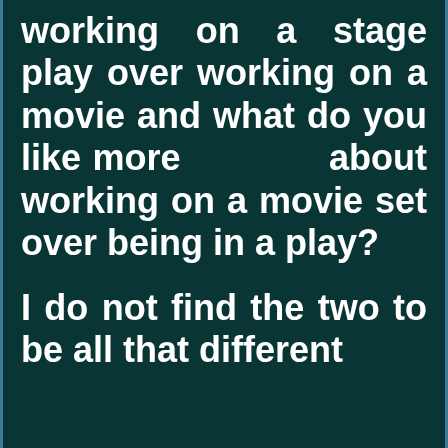working on a stage play over working on a movie and what do you like more about working on a movie set over being in a play?
I do not find the two to be all that different